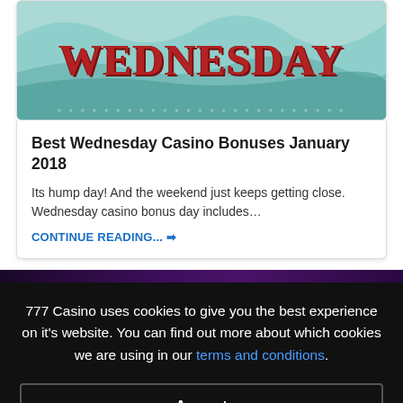[Figure (illustration): Decorative banner image with teal/blue wavy background and the word WEDNESDAY in large red bold serif letters]
Best Wednesday Casino Bonuses January 2018
Its hump day!  And the weekend just keeps getting close. Wednesday casino bonus day includes…
CONTINUE READING... →
777 Casino uses cookies to give you the best experience on it's website. You can find out more about which cookies we are using in our terms and conditions.
Accept